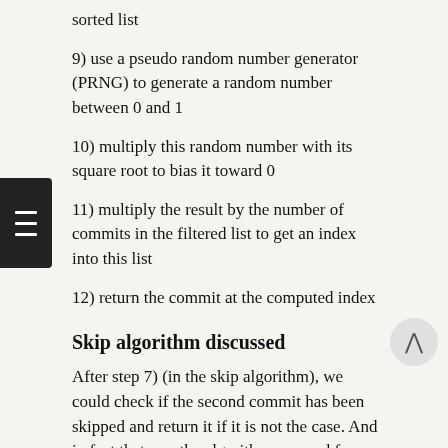sorted list
9) use a pseudo random number generator (PRNG) to generate a random number between 0 and 1
10) multiply this random number with its square root to bias it toward 0
11) multiply the result by the number of commits in the filtered list to get an index into this list
12) return the commit at the computed index
Skip algorithm discussed
After step 7) (in the skip algorithm), we could check if the second commit has been skipped and return it if it is not the case. And in fact that was the algorithm we used from when "git bisect skip" was developed in Git version 1.5.4 (released on February 1st 2008) until Git version 1.6.4 (released July 29th 2009).
But Ingo Molnar and H. Peter Anvin (another well